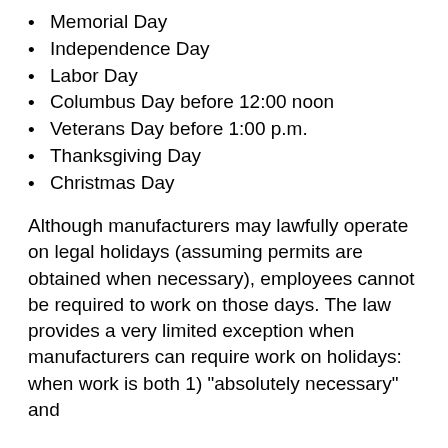Memorial Day
Independence Day
Labor Day
Columbus Day before 12:00 noon
Veterans Day before 1:00 p.m.
Thanksgiving Day
Christmas Day
Although manufacturers may lawfully operate on legal holidays (assuming permits are obtained when necessary), employees cannot be required to work on those days. The law provides a very limited exception when manufacturers can require work on holidays: when work is both 1) “absolutely necessary” and